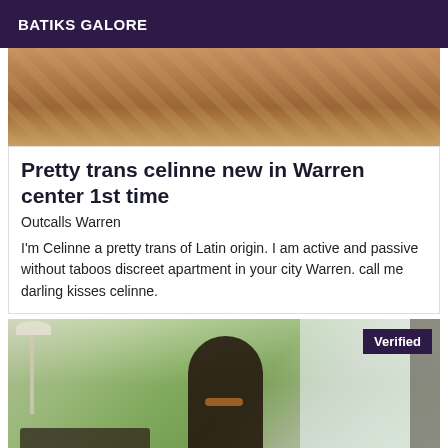BATIKS GALORE
[Figure (photo): Cropped photo showing a person lying on a bed with patterned sheets, warm skin tones visible.]
Pretty trans celinne new in Warren center 1st time
Outcalls Warren
I'm Celinne a pretty trans of Latin origin. I am active and passive without taboos discreet apartment in your city Warren. call me darling kisses celinne.
[Figure (photo): Photo of a woman with long dark hair wearing sunglasses sitting outdoors at a table with a laptop, green background with trees and outdoor furniture. A purple 'Verified' badge is in the top right corner.]